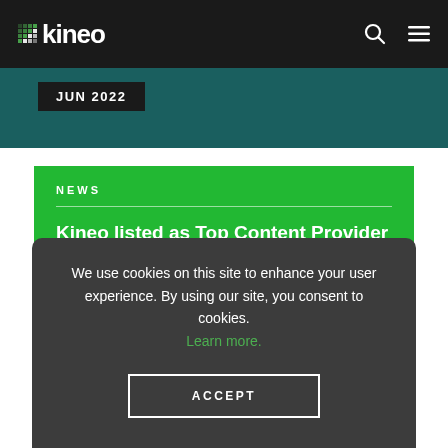kineo
JUN 2022
NEWS
Kineo listed as Top Content Provider for Upskilling and Reskilling in 2022
Upskilling and reskilling employees into a top priority
We use cookies on this site to enhance your user experience. By using our site, you consent to cookies. Learn more.
ACCEPT